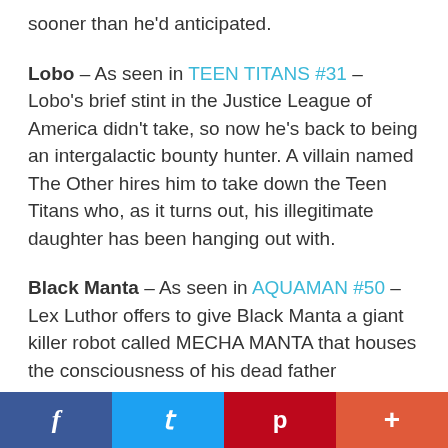sooner than he'd anticipated.
Lobo – As seen in TEEN TITANS #31 – Lobo's brief stint in the Justice League of America didn't take, so now he's back to being an intergalactic bounty hunter. A villain named The Other hires him to take down the Teen Titans who, as it turns out, his illegitimate daughter has been hanging out with.
Black Manta – As seen in AQUAMAN #50 – Lex Luthor offers to give Black Manta a giant killer robot called MECHA MANTA that houses the consciousness of his dead father
f  t  p  +